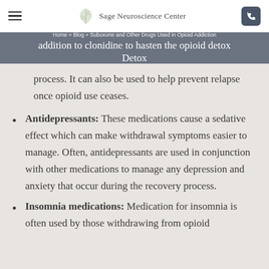Sage Neuroscience Center
Home » Blog » Suboxone and Other Drugs Used in Opioid Addiction Detox
addition to clonidine to hasten the opioid detox process. It can also be used to help prevent relapse once opioid use ceases.
Antidepressants: These medications cause a sedative effect which can make withdrawal symptoms easier to manage. Often, antidepressants are used in conjunction with other medications to manage any depression and anxiety that occur during the recovery process.
Insomnia medications: Medication for insomnia is often used by those withdrawing from opioid